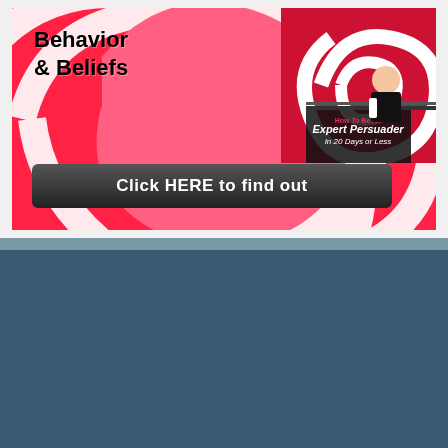[Figure (illustration): Top advertisement banner with red and white swirl background. Text reads 'Behavior & Beliefs'. Shows a book cover titled 'Expert Persuader in 20 Days or Less' and a woman in business attire. A dark button at bottom reads 'Click HERE to find out'.]
[Figure (illustration): Bottom advertisement banner with red and white swirl background. Text reads 'Change Anyone's Behavior & Beliefs'. Partially visible book cover and woman in business attire. A scroll-to-top arrow button is visible on the right.]